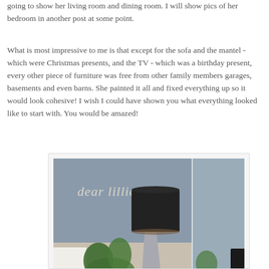going to show her living room and dining room. I will show pics of her bedroom in another post at some point.
What is most impressive to me is that except for the sofa and the mantel - which were Christmas presents, and the TV - which was a birthday present,  every other piece of furniture was free from other family members garages, basements and even barns. She painted it all and fixed everything up so it would look cohesive! I wish I could have shown you what everything looked like to start with. You would be amazed!
[Figure (photo): Interior room photo showing a gray wall with cursive 'dear lillie' text/decal, a black drum floor lamp on a silver stand, green plants, and a white sofa partially visible.]